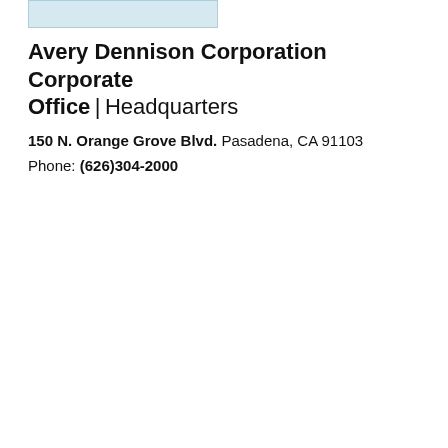[Figure (logo): Light blue rectangular logo placeholder for Avery Dennison Corporation]
Avery Dennison Corporation Corporate Office | Headquarters
150 N. Orange Grove Blvd. Pasadena, CA 91103
Phone: (626)304-2000